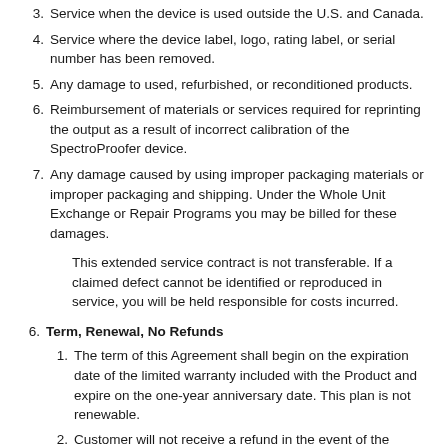3. Service when the device is used outside the U.S. and Canada.
4. Service where the device label, logo, rating label, or serial number has been removed.
5. Any damage to used, refurbished, or reconditioned products.
6. Reimbursement of materials or services required for reprinting the output as a result of incorrect calibration of the SpectroProofer device.
7. Any damage caused by using improper packaging materials or improper packaging and shipping. Under the Whole Unit Exchange or Repair Programs you may be billed for these damages.
This extended service contract is not transferable. If a claimed defect cannot be identified or reproduced in service, you will be held responsible for costs incurred.
6. Term, Renewal, No Refunds
1. The term of this Agreement shall begin on the expiration date of the limited warranty included with the Product and expire on the one-year anniversary date. This plan is not renewable.
2. Customer will not receive a refund in the event of the Product being returned, sold, lost, stolen, or destroyed.
7. Warranty Disclaimer